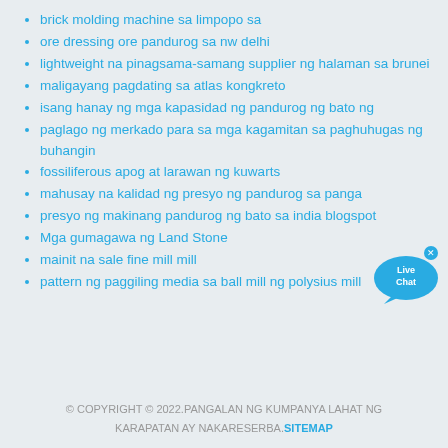brick molding machine sa limpopo sa
ore dressing ore pandurog sa nw delhi
lightweight na pinagsama-samang supplier ng halaman sa brunei
maligayang pagdating sa atlas kongkreto
isang hanay ng mga kapasidad ng pandurog ng bato ng
paglago ng merkado para sa mga kagamitan sa paghuhugas ng buhangin
fossiliferous apog at larawan ng kuwarts
mahusay na kalidad ng presyo ng pandurog sa panga
presyo ng makinang pandurog ng bato sa india blogspot
Mga gumagawa ng Land Stone
mainit na sale fine mill mill
pattern ng paggiling media sa ball mill ng polysius mill
© COPYRIGHT © 2022.PANGALAN NG KUMPANYA LAHAT NG KARAPATAN AY NAKARESERBA.SITEMAP